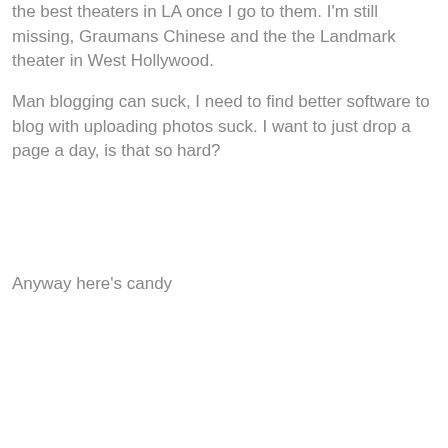the best theaters in LA once I go to them. I'm still missing, Graumans Chinese and the the Landmark theater in West Hollywood.
Man blogging can suck, I need to find better software to blog with uploading photos suck. I want to just drop a page a day, is that so hard?
Anyway here's candy